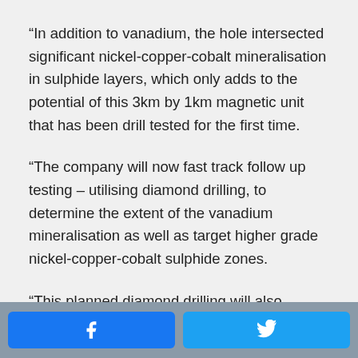“In addition to vanadium, the hole intersected significant nickel-copper-cobalt mineralisation in sulphide layers, which only adds to the potential of this 3km by 1km magnetic unit that has been drill tested for the first time.
“The company will now fast track follow up testing – utilising diamond drilling, to determine the extent of the vanadium mineralisation as well as target higher grade nickel-copper-cobalt sulphide zones.
“This planned diamond drilling will also
[Figure (other): Footer bar with Facebook and Twitter share buttons]